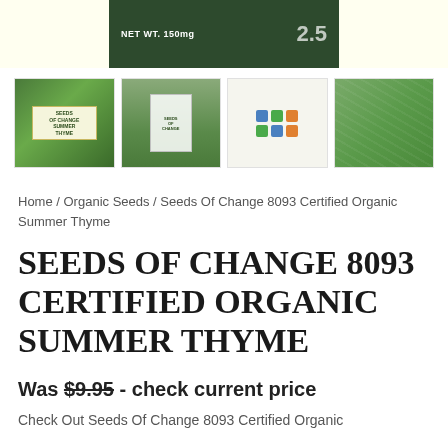[Figure (photo): Top portion of a product image showing a seed packet with text 'NET WT. 150mg' against a green herb background, with a yellow/cream background below.]
[Figure (photo): Thumbnail row of four product images: 1) Seeds of Change Summer Thyme seed packet with yellow border on green background, 2) Seed packet on wooden background, 3) Product back label with certifications/icons, 4) Close-up of thyme herb plant.]
Home / Organic Seeds / Seeds Of Change 8093 Certified Organic Summer Thyme
SEEDS OF CHANGE 8093 CERTIFIED ORGANIC SUMMER THYME
Was $9.95 - check current price
Check Out Seeds Of Change 8093 Certified Organic